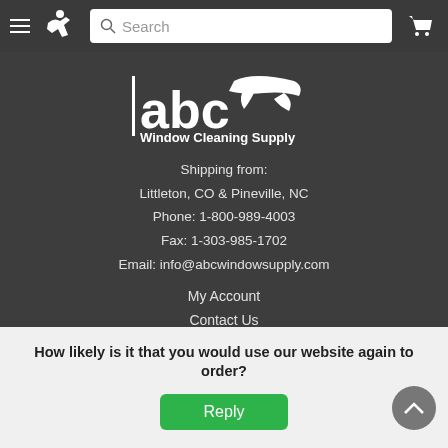Navigation bar with hamburger menu, logo, search box, and cart icon
[Figure (logo): abc Window Cleaning Supply logo — white text and squeegee icon on dark background]
Shipping from:
Littleton, CO & Pineville, NC
Phone: 1-800-989-4003
Fax: 1-303-985-1702
Email: info@abcwindowsupply.com
My Account
Contact Us
Blog
Downloads
How likely is it that you would use our website again to order?
Reply